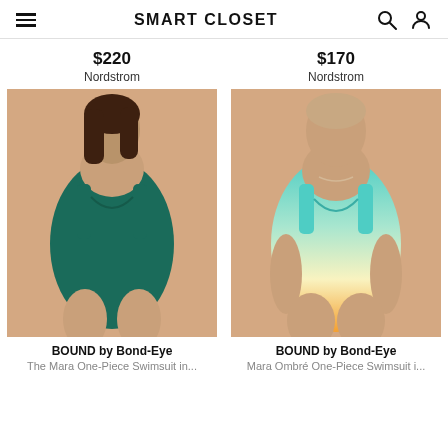SMART CLOSET
$220
Nordstrom
$170
Nordstrom
[Figure (photo): Woman wearing a dark teal/green textured one-piece swimsuit by BOUND by Bond-Eye]
[Figure (photo): Woman wearing a teal-to-orange ombré textured one-piece swimsuit by BOUND by Bond-Eye]
BOUND by Bond-Eye
The Mara One-Piece Swimsuit in...
BOUND by Bond-Eye
Mara Ombré One-Piece Swimsuit i...